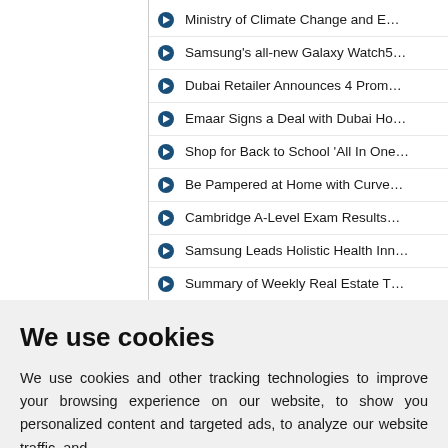Ministry of Climate Change and E...
Samsung's all-new Galaxy Watch5...
Dubai Retailer Announces 4 Prom...
Emaar Signs a Deal with Dubai Ho...
Shop for Back to School 'All In One...
Be Pampered at Home with Curve...
Cambridge A-Level Exam Results...
Samsung Leads Holistic Health Inn...
Summary of Weekly Real Estate T...
We use cookies
We use cookies and other tracking technologies to improve your browsing experience on our website, to show you personalized content and targeted ads, to analyze our website traffic, and